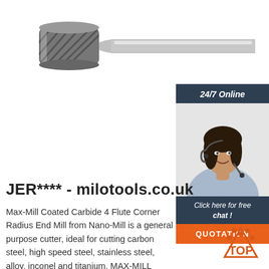[Figure (photo): Carbide rotary burr / end mill tool with cylindrical head and shank, shown horizontally on white background]
[Figure (infographic): 24/7 Online chat widget with dark blue header '24/7 Online', photo of female customer service representative with headset, dark blue footer 'Click here for free chat !', orange QUOTATION button]
JER**** - milotools.co.uk
Max-Mill Coated Carbide 4 Flute Corner Radius End Mill from Nano-Mill is a general purpose cutter, ideal for cutting carbon steel, high speed steel, stainless steel, alloy, inconel and titanium. MAX-MILL cutters cut up to 55 HRC, and can be used wet or dry to increase tool life.
[Figure (logo): Orange 'TOP' logo with dotted arc above text]